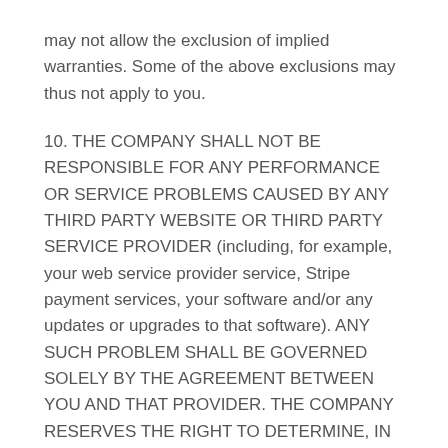may not allow the exclusion of implied warranties. Some of the above exclusions may thus not apply to you.
10. THE COMPANY SHALL NOT BE RESPONSIBLE FOR ANY PERFORMANCE OR SERVICE PROBLEMS CAUSED BY ANY THIRD PARTY WEBSITE OR THIRD PARTY SERVICE PROVIDER (including, for example, your web service provider service, Stripe payment services, your software and/or any updates or upgrades to that software). ANY SUCH PROBLEM SHALL BE GOVERNED SOLELY BY THE AGREEMENT BETWEEN YOU AND THAT PROVIDER. THE COMPANY RESERVES THE RIGHT TO DETERMINE, IN ITS SOLE DISCRETION, WHETHER THE COMPANY IS RESPONSIBLE FOR ANY SUCH MALFUNCTION OR DISRUPTION. THE COMPANY ALSO RESERVES THE RIGHT TO LIMIT YOUR USE OF THE SITE AND/OR THE CONTENT OR